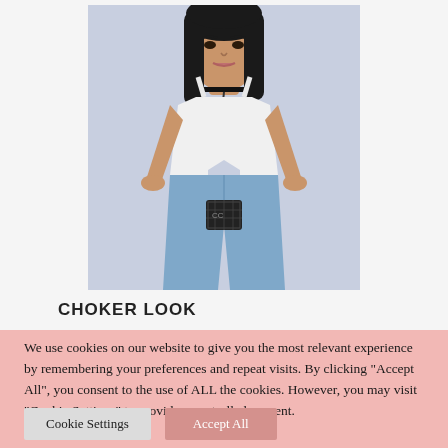[Figure (photo): Fashion photo of a young woman with long black hair wearing a white crop top, blue high-waist jeans, a black choker necklace, and carrying a small black quilted crossbody bag. Background is light blue/grey.]
CHOKER LOOK
We use cookies on our website to give you the most relevant experience by remembering your preferences and repeat visits. By clicking "Accept All", you consent to the use of ALL the cookies. However, you may visit "Cookie Settings" to provide a controlled consent.
Cookie Settings   Accept All